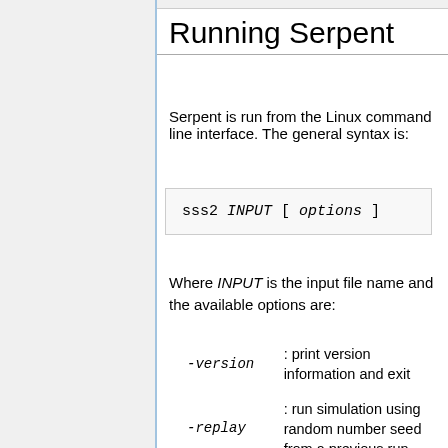Running Serpent
Serpent is run from the Linux command line interface. The general syntax is:
Where INPUT is the input file name and the available options are:
-version : print version information and exit
-replay : run simulation using random number seed from a previous run
-his : run only burnup history in coefficient calculation
-coe : run only restarts in